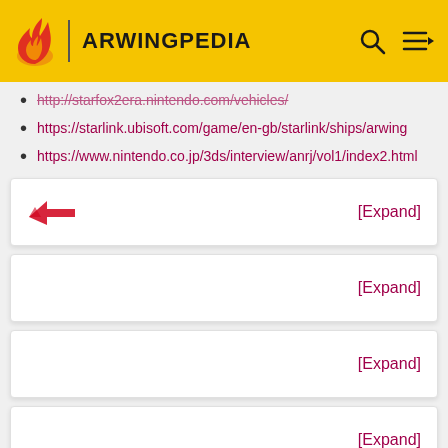ARWINGPEDIA
http://starfox2era.nintendo.com/vehicles/
https://starlink.ubisoft.com/game/en-gb/starlink/ships/arwing
https://www.nintendo.co.jp/3ds/interview/anrj/vol1/index2.html
[Figure (other): Collapsible expand box with Star Fox logo icon and [Expand] button]
[Figure (other): Collapsible expand box with [Expand] button]
[Figure (other): Collapsible expand box with [Expand] button]
[Figure (other): Collapsible expand box with [Expand] button]
[Figure (other): Collapsible expand box with [Expand] button]
[Figure (other): Partial yellow expand box at bottom (cut off)]